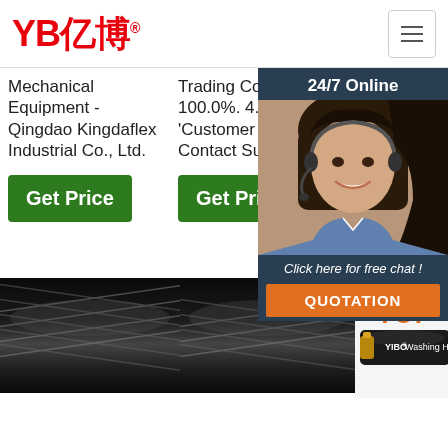YB亿博® [hamburger menu]
Mechanical Equipment - Qingdao Kingdaflex Industrial Co., Ltd.
Trading Co., Ltd. 100.0%. 4.8 ( 14) 'Customer service'. Contact Supplier.
Hose Min. Order: 500 M Contact Video Standard Braid Teflon Hydraulic SAE
Get Price
Get Price
[Figure (photo): Chat support popup with 24/7 Online label, photo of customer service representative wearing headset, 'Click here for free chat!' text, and orange QUOTATION button]
[Figure (photo): Close-up photo of black braided hydraulic hose, left panel]
[Figure (photo): Close-up photo of black braided hydraulic hose, middle panel]
[Figure (logo): YIBO TOP logo with orange dots forming triangle, black hose image, and text 'YIBO® Washing Hose']